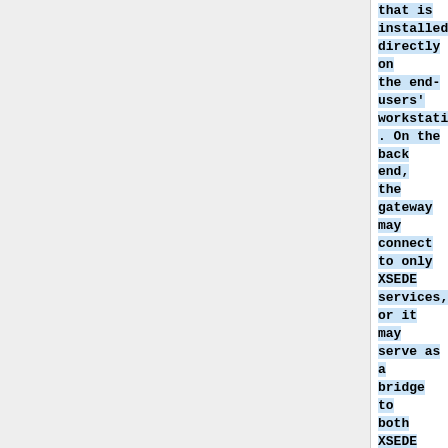that is installed directly on the end-users' workstations. On the back end, the gateway may connect to only XSEDE services, or it may serve as a bridge to both XSEDE services and other community grids.